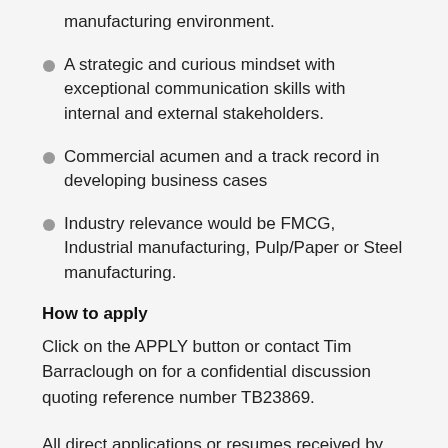manufacturing environment.
A strategic and curious mindset with exceptional communication skills with internal and external stakeholders.
Commercial acumen and a track record in developing business cases
Industry relevance would be FMCG, Industrial manufacturing, Pulp/Paper or Steel manufacturing.
How to apply
Click on the APPLY button or contact Tim Barraclough on for a confidential discussion quoting reference number TB23869.
All direct applications or resumes received by our